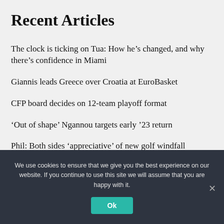Recent Articles
The clock is ticking on Tua: How he’s changed, and why there’s confidence in Miami
Giannis leads Greece over Croatia at EuroBasket
CFP board decides on 12-team playoff format
‘Out of shape’ Ngannou targets early ’23 return
Phil: Both sides ‘appreciative’ of new golf windfall
We use cookies to ensure that we give you the best experience on our website. If you continue to use this site we will assume that you are happy with it.